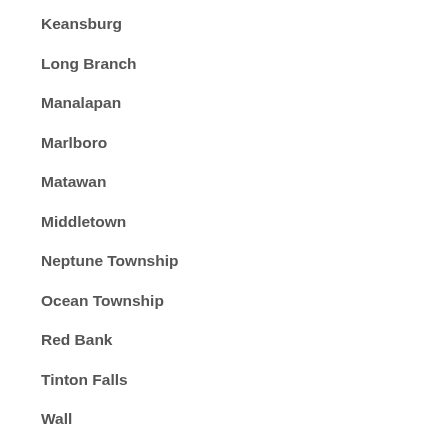Keansburg
Long Branch
Manalapan
Marlboro
Matawan
Middletown
Neptune Township
Ocean Township
Red Bank
Tinton Falls
Wall
All Monmouth County Communities